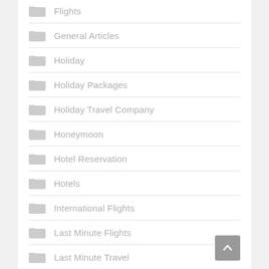Flights
General Articles
Holiday
Holiday Packages
Holiday Travel Company
Honeymoon
Hotel Reservation
Hotels
International Flights
Last Minute Flights
Last Minute Travel
Luxury Travel